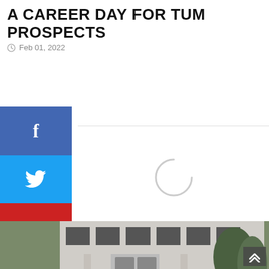A CAREER DAY FOR TUM PROSPECTS
Feb 01, 2022
[Figure (photo): Social media share buttons on the left sidebar: Facebook (blue), Twitter (light blue), YouTube (red), Email (dark gray)]
[Figure (photo): Outdoor gathering of a large crowd of people wearing face masks, seated in front of a white multi-storey building with trees in the background. A speaker stands at a podium on the right side addressing the audience. Red chairs are visible in the front rows.]